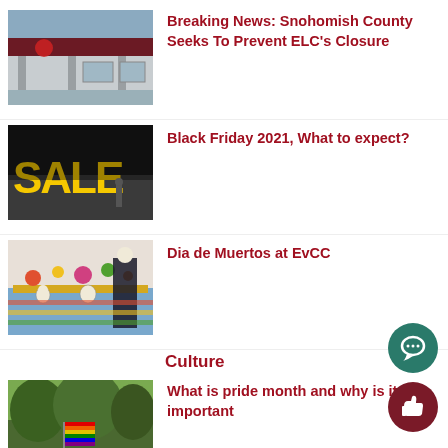[Figure (photo): Exterior of a building with a dark red awning and a red circular logo, parking lot visible, dusk lighting]
Breaking News: Snohomish County Seeks To Prevent ELC’s Closure
[Figure (photo): Store window display with large yellow SALE letters on dark background, street scene visible]
Black Friday 2021, What to expect?
[Figure (photo): Dia de Muertos display with colorful decorations, figurines, and a person dressed as a skeleton in traditional costume]
Dia de Muertos at EvCC
Culture
[Figure (photo): Trees with a rainbow Pride flag in the foreground]
What is pride month and why is it important